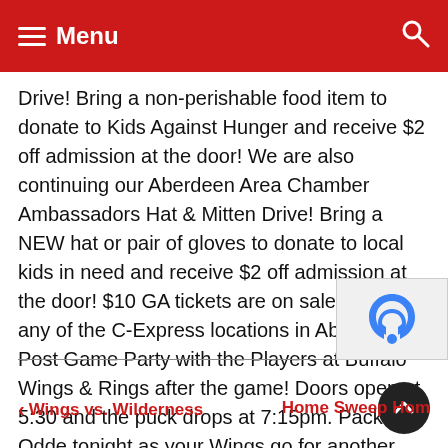Menu
Drive!  Bring a non-perishable food item to donate to Kids Against Hunger and receive $2 off admission at the door!  We are also continuing our Aberdeen Area Chamber Ambassadors Hat & Mitten Drive!  Bring a NEW hat or pair of gloves to donate to local kids in need and receive $2 off admission at the door!  $10 GA tickets are on sale NOW at any of the C-Express locations in Aberdeen.  Post Game Party with the Players at Buffalo Wings & Rings after the game!  Doors open at 5:30 and the puck drops at 7:15pm.  Pack the Odde tonight as your Wings go for another weekend sweep!
Wings vs. Wilderness    Home Sweep Hom